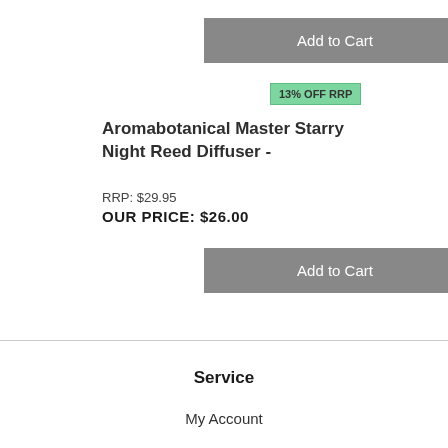[Figure (other): Gray 'Add to Cart' button at top]
13% OFF RRP
Aromabotanical Master Starry Night Reed Diffuser -
RRP: $29.95
OUR PRICE: $26.00
[Figure (other): Gray 'Add to Cart' button]
Service
My Account